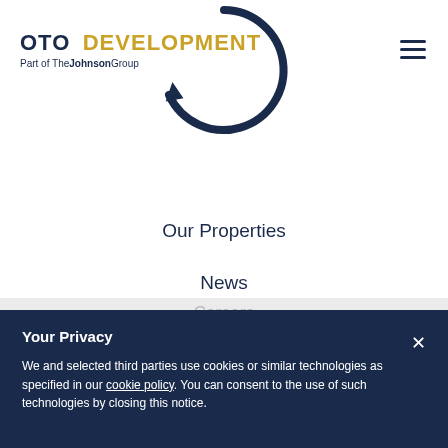[Figure (logo): OTO Development logo with circular arrow and 'Part of The Johnson Group' tagline]
Our Properties
News
Careers
Contact
Your Privacy
We and selected third parties use cookies or similar technologies as specified in our cookie policy. You can consent to the use of such technologies by closing this notice.